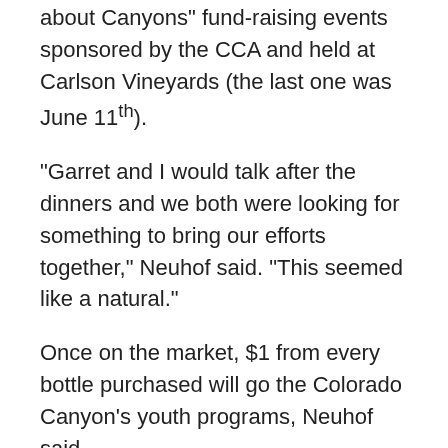about Canyons" fund-raising events sponsored by the CCA and held at Carlson Vineyards (the last one was June 11th).
“Garret and I would talk after the dinners and we both were looking for something to bring our efforts together,” Neuhof said. “This seemed like a natural.”
Once on the market, $1 from every bottle purchased will go the Colorado Canyon’s youth programs, Neuhof said.
“This might seem strange to some people but I think it’s a good fit for us and Carlson’s,” he said. “Our goal in 2017 is to get 3,500 kids into the backcountry and this will help that happen.”
The final decision is a blend of 72-percent Lemberger, also known as Blaufrankisch, the spicy red grape that adds a